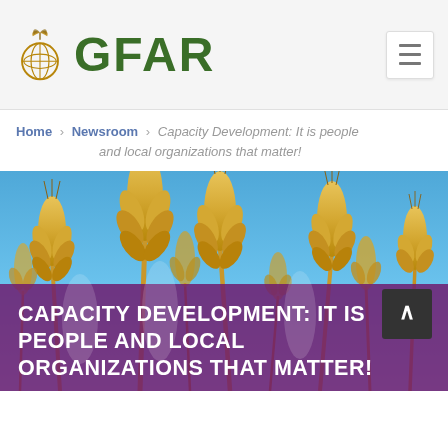GFAR
Home › Newsroom › Capacity Development: It is people and local organizations that matter!
[Figure (photo): Close-up photo of golden wheat stalks against a bright blue sky]
CAPACITY DEVELOPMENT: IT IS PEOPLE AND LOCAL ORGANIZATIONS THAT MATTER!